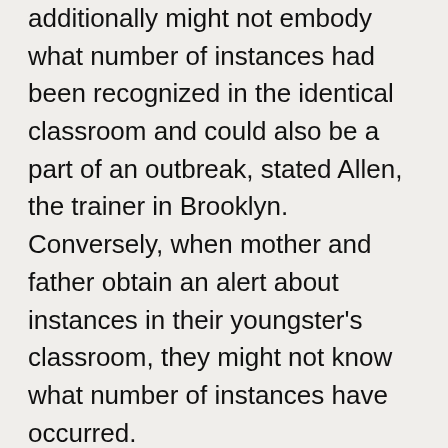additionally might not embody what number of instances had been recognized in the identical classroom and could also be a part of an outbreak, stated Allen, the trainer in Brooklyn. Conversely, when mother and father obtain an alert about instances in their youngster's classroom, they might not know what number of instances have occurred.
“The most effective surveillance has come from talking to other parents or asking your kid, ‘Hey, was anyone out?’” Roca stated. “That's really not an ideal way to have public health safety.”
As incomplete as case information for schools could also be, this info is definitely extra dependable than the COVID surveillance for the town general. The New York Metropolis Well being